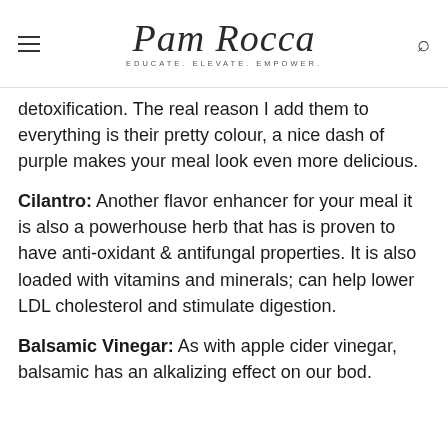Pam Rocca — EDUCATE. ELEVATE. EMPOWER.
detoxification. The real reason I add them to everything is their pretty colour, a nice dash of purple makes your meal look even more delicious.
Cilantro: Another flavor enhancer for your meal it is also a powerhouse herb that has is proven to have anti-oxidant & antifungal properties. It is also loaded with vitamins and minerals; can help lower LDL cholesterol and stimulate digestion.
Balsamic Vinegar: As with apple cider vinegar, balsamic has an alkalizing effect on our bod.